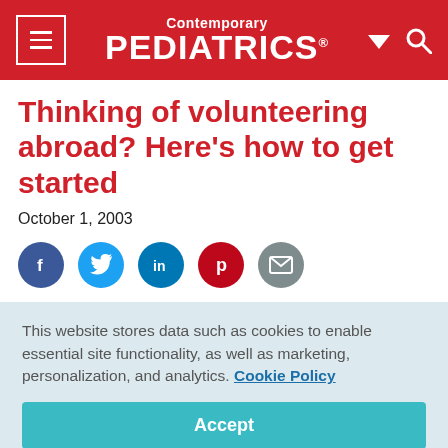Contemporary PEDIATRICS
Thinking of volunteering abroad? Here's how to get started
October 1, 2003
[Figure (infographic): Row of five social media share icons: Facebook (dark blue), Twitter (light blue), LinkedIn (blue), Pinterest (dark red), Email (grey)]
This website stores data such as cookies to enable essential site functionality, as well as marketing, personalization, and analytics. Cookie Policy
Accept
Deny